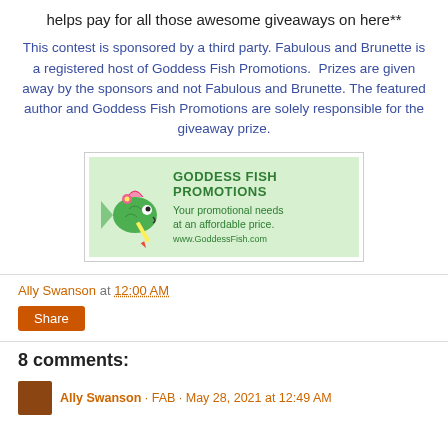helps pay for all those awesome giveaways on here**
This contest is sponsored by a third party. Fabulous and Brunette is a registered host of Goddess Fish Promotions. Prizes are given away by the sponsors and not Fabulous and Brunette. The featured author and Goddess Fish Promotions are solely responsible for the giveaway prize.
[Figure (logo): Goddess Fish Promotions banner logo with cartoon fish and tagline: Your promotional needs at an affordable price. www.GoddessFish.com]
Ally Swanson at 12:00 AM
Share
8 comments:
Ally Swanson · FAB · May 28, 2021 at 12:49 AM